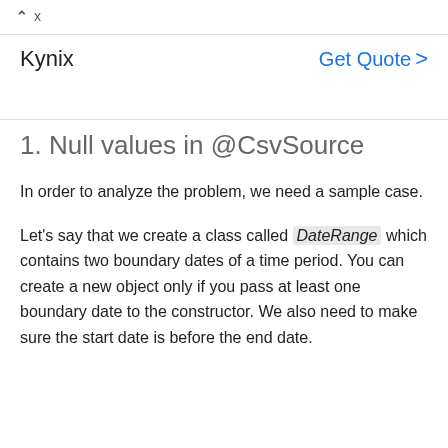[Figure (screenshot): Ad banner with caret and X controls at top, Kynix brand name on left, 'Get Quote >' call-to-action link in blue on right]
1. Null values in @CsvSource
In order to analyze the problem, we need a sample case.
Let's say that we create a class called DateRange which contains two boundary dates of a time period. You can create a new object only if you pass at least one boundary date to the constructor. We also need to make sure the start date is before the end date.